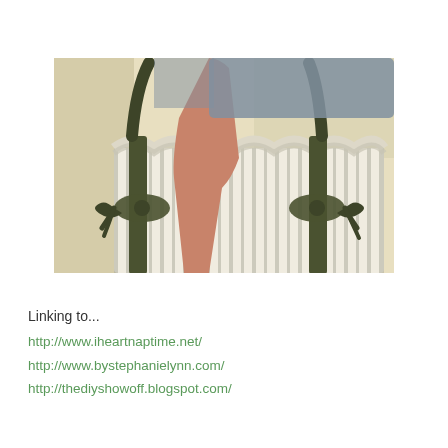[Figure (photo): A person carrying a striped tote bag with dark olive/army green handles and bow ties on the sides. The bag has a ruffled top edge and vertical stripes in cream and gray/green. The person is wearing a blue-gray shirt, shown from torso down, outdoors in a bright sunny setting.]
Linking to...
http://www.iheartnaptime.net/
http://www.bystephanielynn.com/
http://thediyshowoff.blogspot.com/